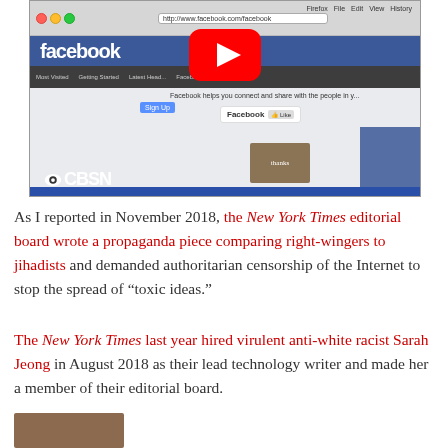[Figure (screenshot): Screenshot of a Facebook webpage shown in Firefox browser, with CBSN logo overlay in bottom left and a YouTube play button overlay in the upper center.]
As I reported in November 2018, the New York Times editorial board wrote a propaganda piece comparing right-wingers to jihadists and demanded authoritarian censorship of the Internet to stop the spread of “toxic ideas.”
The New York Times last year hired virulent anti-white racist Sarah Jeong in August 2018 as their lead technology writer and made her a member of their editorial board.
[Figure (photo): Partial photo visible at bottom of page, cropped.]